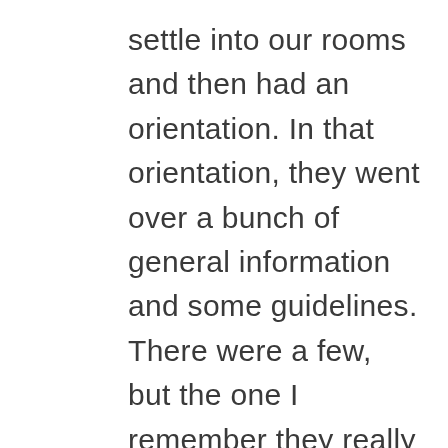settle into our rooms and then had an orientation. In that orientation, they went over a bunch of general information and some guidelines. There were a few, but the one I remember they really really emphasized (probably because they've experienced the skepticism in the past) was no sales/recruiting discussions of Younique. They said that if anyone was a seller, they were not allowed to do that here. They emphasized that everyone is here to dedicate time to recovery and that any agenda could derail that.